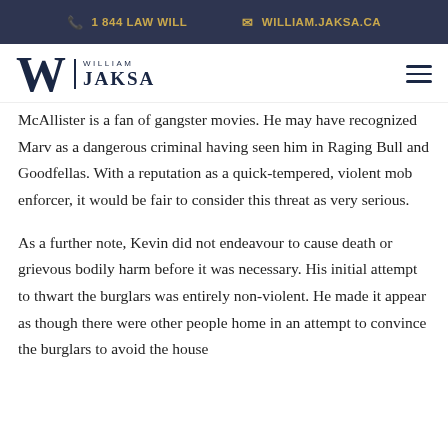1 844 LAW WILL   WILLIAM.JAKSA.CA
[Figure (logo): William Jaksa law firm logo with stylized W and firm name]
McAllister is a fan of gangster movies. He may have recognized Marv as a dangerous criminal having seen him in Raging Bull and Goodfellas. With a reputation as a quick-tempered, violent mob enforcer, it would be fair to consider this threat as very serious.
As a further note, Kevin did not endeavour to cause death or grievous bodily harm before it was necessary. His initial attempt to thwart the burglars was entirely non-violent. He made it appear as though there were other people home in an attempt to convince the burglars to avoid the house